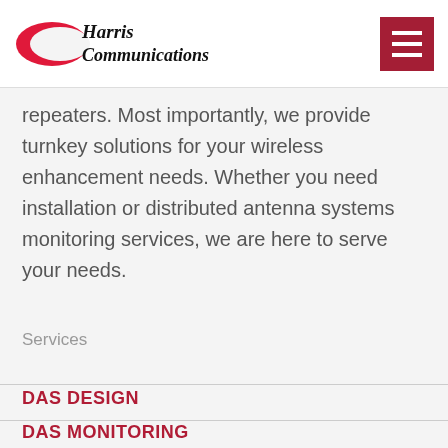[Figure (logo): Harris Communications logo with red crescent swoosh and black italic text]
repeaters. Most importantly, we provide turnkey solutions for your wireless enhancement needs. Whether you need installation or distributed antenna systems monitoring services, we are here to serve your needs.
Services
DAS DESIGN
DAS MONITORING